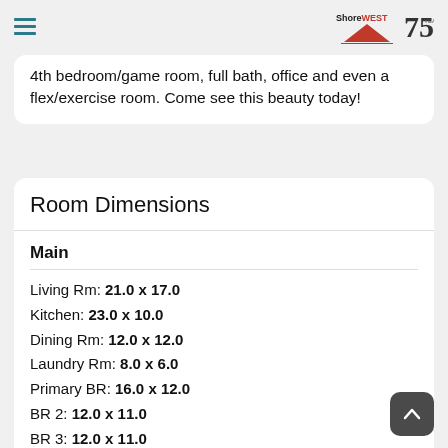Shorewest 75 Years
4th bedroom/game room, full bath, office and even a flex/exercise room. Come see this beauty today!
Room Dimensions
Main
Living Rm: 21.0 x 17.0
Kitchen: 23.0 x 10.0
Dining Rm: 12.0 x 12.0
Laundry Rm: 8.0 x 6.0
Primary BR: 16.0 x 12.0
BR 2: 12.0 x 11.0
BR 3: 12.0 x 11.0
Full Baths: 2